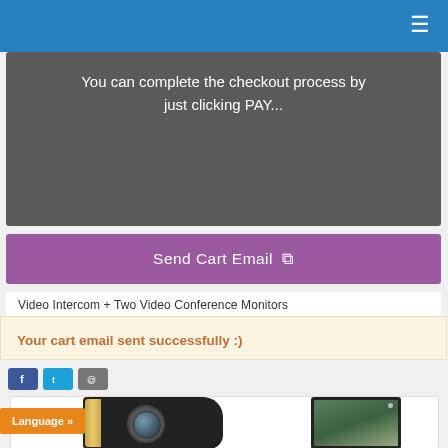≡
You can complete the checkout process by just clicking PAY...
Send Cart Email ↗
Video Intercom + Two Video Conference Monitors
Your cart email sent successfully :)
[Figure (photo): Video intercom outdoor camera unit (black with gold strip and camera lens) next to a video conference monitor showing a family photo on screen]
Language »